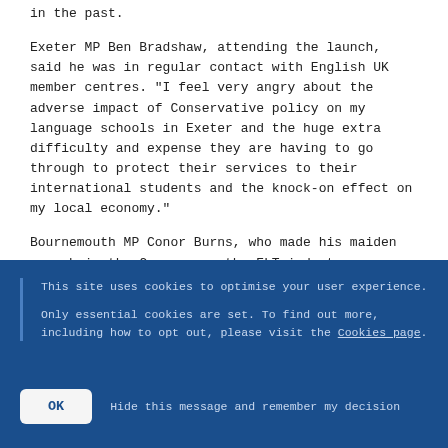in the past.
Exeter MP Ben Bradshaw, attending the launch, said he was in regular contact with English UK member centres. "I feel very angry about the adverse impact of Conservative policy on my language schools in Exeter and the huge extra difficulty and expense they are having to go through to protect their services to their international students and the knock-on effect on my local economy."
Bournemouth MP Conor Burns, who made his maiden speech in the Commons on the ELT industry, was also
This site uses cookies to optimise your user experience.

Only essential cookies are set. To find out more, including how to opt out, please visit the Cookies page.
OK   Hide this message and remember my decision